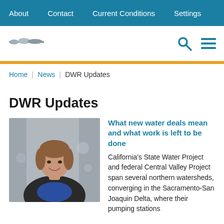About | Contact | Current Conditions | Settings
[Figure (logo): DWR or California state agency logo (small, top left)]
Breadcrumb: Home > News > DWR Updates
DWR Updates
[Figure (photo): Professional headshot of a woman with short hair wearing a dark blazer over a blue top, photographed indoors with a blurred background.]
What new water deals mean and what work is left to be done
California's State Water Project and federal Central Valley Project span several northern watersheds, converging in the Sacramento-San Joaquin Delta, where their pumping stations